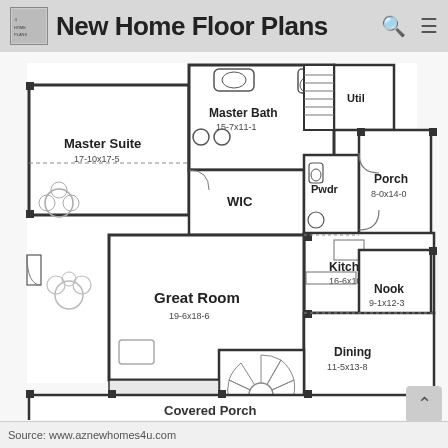New Home Floor Plans
[Figure (engineering-diagram): First floor plan of a new home showing rooms: Master Suite (17-10x17-5), Master Bath (15-7x11-1), WIC, Pwdr, Util, Porch (8-0x14-0), Kitchen (16-6x10-4), Nook (9-1x12-3), Great Room (19-6x18-6), Dining (11-5x13-8), Covered Porch, and a spiral staircase. The floor plan includes furniture layouts, door swings, and dimension labels.]
Source: www.aznewhomes4u.com